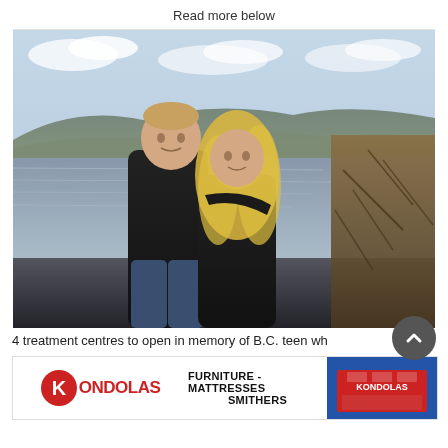Read more below
[Figure (photo): A man with short blond hair and a woman with long blond hair, both wearing black jackets, standing together outdoors in front of a lake with hills and trees in the background.]
4 treatment centres to open in memory of B.C. teen wh
[Figure (other): Kondolas advertisement banner: Kondolas logo on left, text 'FURNITURE - MATTRESSES SMITHERS' in center, building photo on right.]